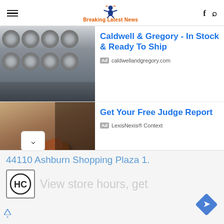Breaking Latest News
[Figure (photo): Row of commercial laundry washing machines stacked in a laundromat]
Caldwell & Gregory - In Stock & Ready To Ship
Ad caldwellandgregory.com
[Figure (photo): Judge's gavel on a wooden surface with a person in background]
Get Your Free Judge Report
Ad LexisNexis® Context
44110 Ashburn Shopping Plaza 1.
View store hours, get